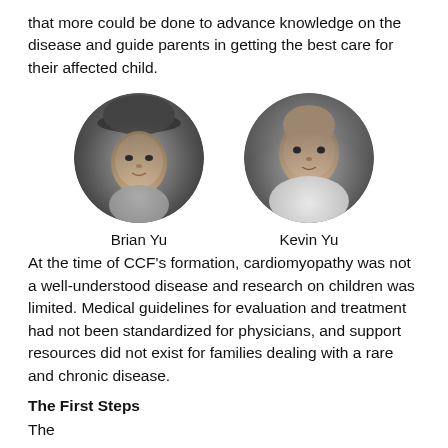that more could be done to advance knowledge on the disease and guide parents in getting the best care for their affected child.
[Figure (photo): Black and white circular portrait photo of a young toddler boy wearing a baseball cap, named Brian Yu]
Brian Yu
[Figure (photo): Black and white circular portrait photo of a baby, named Kevin Yu]
Kevin Yu
At the time of CCF's formation, cardiomyopathy was not a well-understood disease and research on children was limited. Medical guidelines for evaluation and treatment had not been standardized for physicians, and support resources did not exist for families dealing with a rare and chronic disease.
The First Steps
The text continues on the next portion of the page...